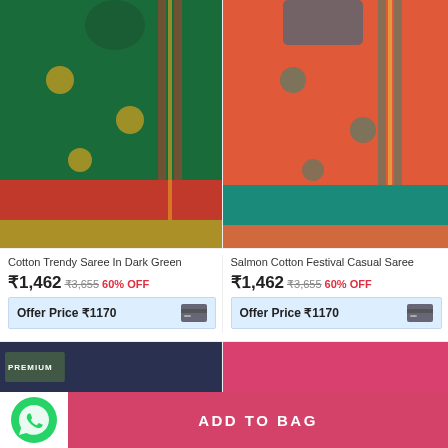[Figure (photo): Model wearing Cotton Trendy Saree in Dark Green with red and gold border]
[Figure (photo): Model wearing Salmon Cotton Festival Casual Saree with teal and gold border]
Cotton Trendy Saree In Dark Green
₹1,462 ₹3,655 60% OFF
Offer Price ₹1170
Salmon Cotton Festival Casual Saree
₹1,462 ₹3,655 60% OFF
Offer Price ₹1170
[Figure (photo): Preview of another product - dark blue background with PREMIUM label]
[Figure (photo): Preview of another product - pink/magenta background]
ADD TO BAG